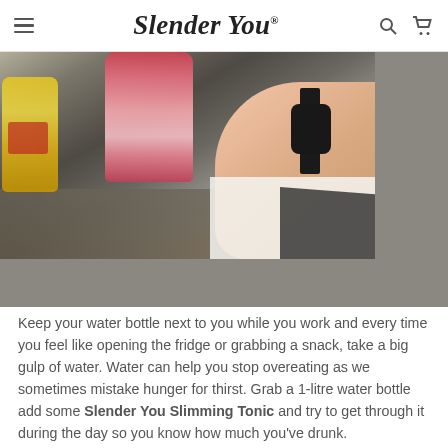Slender You
[Figure (photo): A person holding a pink water bottle with a black smartwatch on their wrist, with a yellow bottle visible on the left and dark ground/pavement in the background.]
Keep your water bottle next to you while you work and every time you feel like opening the fridge or grabbing a snack, take a big gulp of water. Water can help you stop overeating as we sometimes mistake hunger for thirst. Grab a 1-litre water bottle add some Slender You Slimming Tonic and try to get through it during the day so you know how much you've drunk.